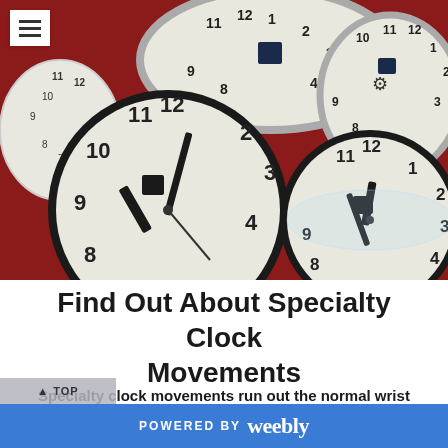[Figure (photo): Photograph of multiple analog clocks with black and silver frames arranged on a red surface, showing clock faces with numbers and hands]
Find Out About Specialty Clock Movements
Specialty clock movements run out the normal wrist watch engines, things that expand timekeeping past twelve-hour cycles
POWERED BY weebly